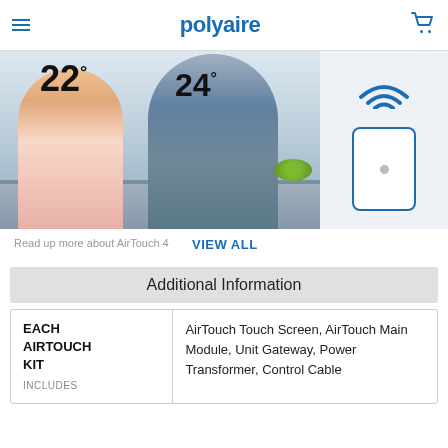polyaire
[Figure (photo): Hero image showing a man and woman in a kitchen with smart temperature control zones showing 22° and 24°, alongside a WiFi-enabled wall panel device]
Read up more about AirTouch 4
VIEW ALL
Additional Information
| EACH AIRTOUCH KIT INCLUDES | AirTouch Touch Screen, AirTouch Main Module, Unit Gateway, Power Transformer, Control Cable |